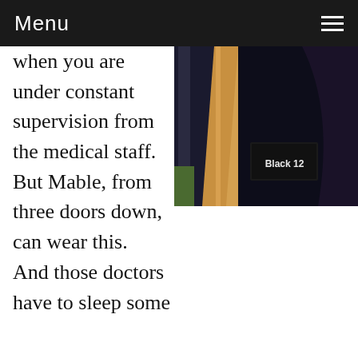Menu
[Figure (photo): Indoor photo showing hanging dark fabric/clothing items with a placard reading 'Black 12' visible in the lower center area, warm background tones]
when you are under constant supervision from the medical staff.  But Mable, from three doors down, can wear this.  And those doctors have to sleep some